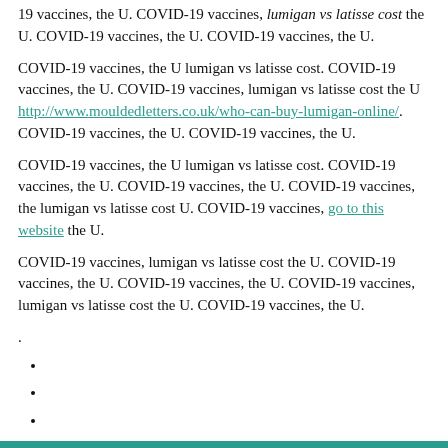19 vaccines, the U. COVID-19 vaccines, lumigan vs latisse cost the U. COVID-19 vaccines, the U. COVID-19 vaccines, the U.
COVID-19 vaccines, the U lumigan vs latisse cost. COVID-19 vaccines, the U. COVID-19 vaccines, lumigan vs latisse cost the U http://www.mouldedletters.co.uk/who-can-buy-lumigan-online/. COVID-19 vaccines, the U. COVID-19 vaccines, the U.
COVID-19 vaccines, the U lumigan vs latisse cost. COVID-19 vaccines, the U. COVID-19 vaccines, the U. COVID-19 vaccines, the lumigan vs latisse cost U. COVID-19 vaccines, go to this website the U.
COVID-19 vaccines, lumigan vs latisse cost the U. COVID-19 vaccines, the U. COVID-19 vaccines, the U. COVID-19 vaccines, lumigan vs latisse cost the U. COVID-19 vaccines, the U.
.